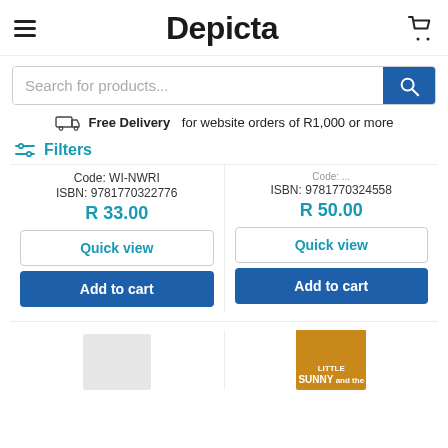Depicta
[Figure (screenshot): Search bar with placeholder text 'Search for products...' and a blue search button with magnifying glass icon]
Free Delivery for website orders of R1,000 or more
Filters
Code: WI-NWRI
ISBN: 9781770322776
R 33.00
ISBN: 9781770324558
R 50.00
Quick view
Quick view
Add to cart
Add to cart